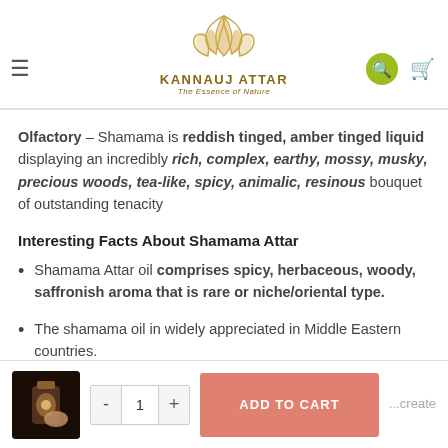Kannauj Attar — The Essence of Nature
Olfactory – Shamama is reddish tinged, amber tinged liquid displaying an incredibly rich, complex, earthy, mossy, musky, precious woods, tea-like, spicy, animalic, resinous bouquet of outstanding tenacity
Interesting Facts About Shamama Attar
Shamama Attar oil comprises spicy, herbaceous, woody, saffronish aroma that is rare or niche/oriental type.
The shamama oil in widely appreciated in Middle Eastern countries.
Sha... ...create